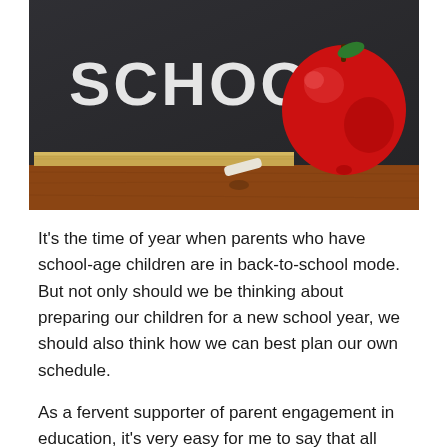[Figure (photo): A chalkboard with 'BACK TO SCHOOL' written in chalk, a red apple, a piece of chalk, and a wooden chalk ledge on a wooden desk surface.]
It's the time of year when parents who have school-age children are in back-to-school mode. But not only should we be thinking about preparing our children for a new school year, we should also think how we can best plan our own schedule.
As a fervent supporter of parent engagement in education, it's very easy for me to say that all parents should be actively involved in their children's schools, become active